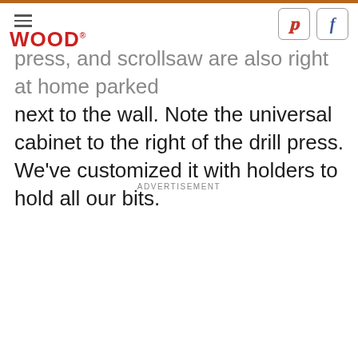WOOD. [Pinterest icon] [Facebook icon]
press, and scrollsaw are also right at home parked next to the wall. Note the universal cabinet to the right of the drill press. We've customized it with holders to hold all our bits.
ADVERTISEMENT